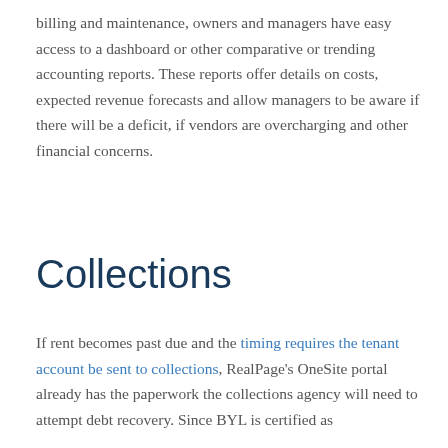billing and maintenance, owners and managers have easy access to a dashboard or other comparative or trending accounting reports. These reports offer details on costs, expected revenue forecasts and allow managers to be aware if there will be a deficit, if vendors are overcharging and other financial concerns.
Collections
If rent becomes past due and the timing requires the tenant account be sent to collections, RealPage's OneSite portal already has the paperwork the collections agency will need to attempt debt recovery. Since BYL is certified as